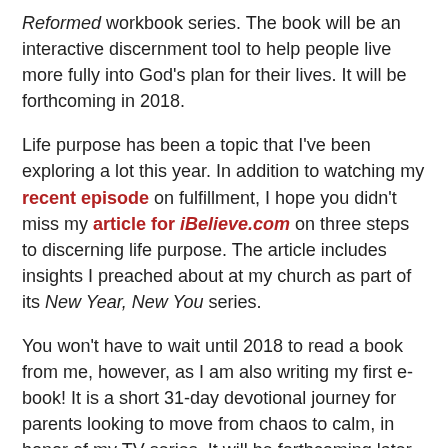Reformed workbook series. The book will be an interactive discernment tool to help people live more fully into God's plan for their lives. It will be forthcoming in 2018.
Life purpose has been a topic that I've been exploring a lot this year. In addition to watching my recent episode on fulfillment, I hope you didn't miss my article for iBelieve.com on three steps to discerning life purpose. The article includes insights I preached about at my church as part of its New Year, New You series.
You won't have to wait until 2018 to read a book from me, however, as I am also writing my first e-book! It is a short 31-day devotional journey for parents looking to move from chaos to calm, in honor of my TV series. It will be forthcoming later this year. My hope is to offer it for free to all subscribers to my blog!
Speaking of Chaos to Calm, this season's final episode will air later this month. I'll be exploring the virtues of a church connection for families - and believe me, we'll go far beyond simple formal religious education! Stay tuned for more.